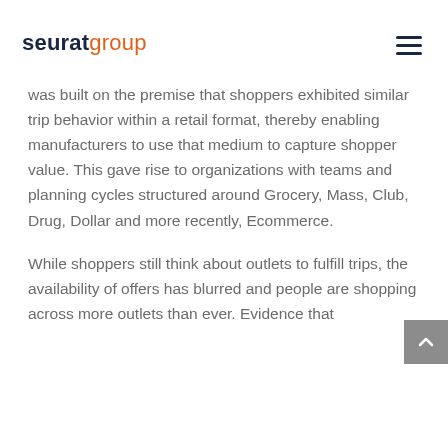seuratgroup
was built on the premise that shoppers exhibited similar trip behavior within a retail format, thereby enabling manufacturers to use that medium to capture shopper value. This gave rise to organizations with teams and planning cycles structured around Grocery, Mass, Club, Drug, Dollar and more recently, Ecommerce.
While shoppers still think about outlets to fulfill trips, the availability of offers has blurred and people are shopping across more outlets than ever. Evidence that